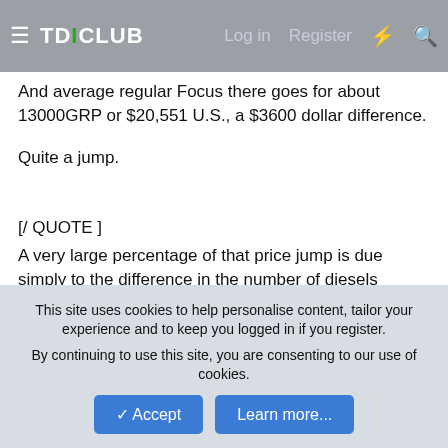TDICLUB | Log in | Register
And average regular Focus there goes for about 13000GRP or $20,551 U.S., a $3600 dollar difference.

Quite a jump.
[/ QUOTE ]
A very large percentage of that price jump is due simply to the difference in the number of diesels they're making right now. How many normal 4-cyl gas Ford FOcus's does Ford produce? Now how many diesels? Far far less. Any manufacturer of ANYTHING ends up charging considerably more for a product they make less of.
If they start selling diesels here in 2006/7, the number of diesel
This site uses cookies to help personalise content, tailor your experience and to keep you logged in if you register.
By continuing to use this site, you are consenting to our use of cookies.